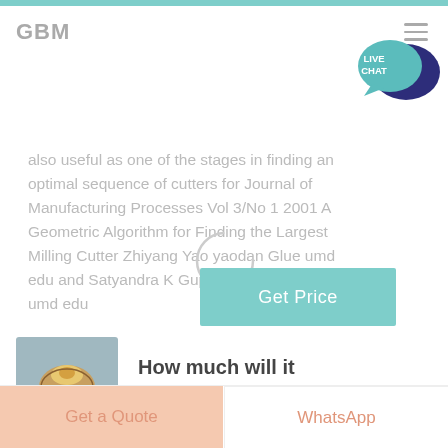GBM
also useful as one of the stages in finding an optimal sequence of cutters for Journal of Manufacturing Processes Vol 3/No 1 2001 A Geometric Algorithm for Finding the Largest Milling Cutter Zhiyang Yao yaodan Glue umd edu and Satyandra K Gupta skgupta eng umd edu
[Figure (other): Get Price button with teal background]
[Figure (photo): Thumbnail image of decorative pottery/ceramic item]
How much will it cost
Get a Quote | WhatsApp